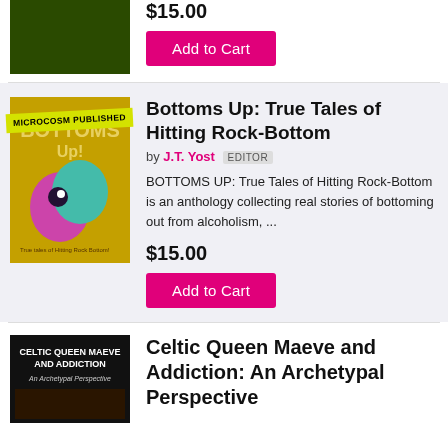$15.00
Add to Cart
Bottoms Up: True Tales of Hitting Rock-Bottom
by J.T. Yost EDITOR
BOTTOMS UP: True Tales of Hitting Rock-Bottom is an anthology collecting real stories of bottoming out from alcoholism, ...
$15.00
Add to Cart
Celtic Queen Maeve and Addiction: An Archetypal Perspective